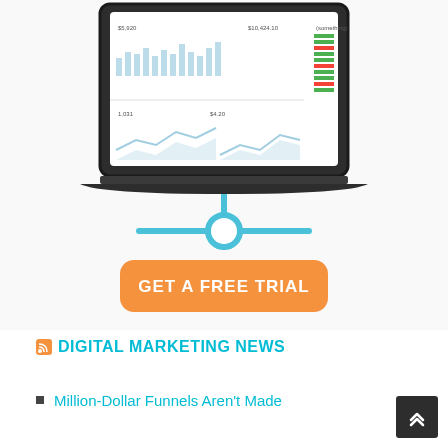[Figure (screenshot): Illustration of a laptop/tablet showing a marketing analytics dashboard with bar charts, line charts, and data tables. Below the screen is a blue connector/funnel icon, and an orange 'GET A FREE TRIAL' button.]
DIGITAL MARKETING NEWS
Million-Dollar Funnels Aren't Made